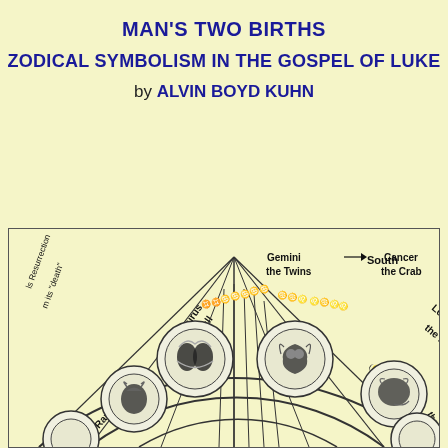MAN'S TWO BIRTHS
ZODICAL SYMBOLISM IN THE GOSPEL OF LUKE
by ALVIN BOYD KUHN
[Figure (other): Partial zodiac wheel diagram showing signs: Gemini the Twins, Cancer the Crab, Leo the Bull, Taurus the Bull, Aries the Ram, and partial others. The wheel shows decorative circular medallions for each sign with ornamental zodiac symbol text and partial labels including 'South' direction arrow, 'Resurrection', and 'death' text along the left side.]